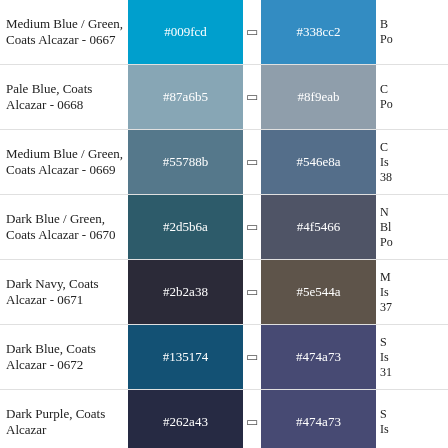| Name | Hex1 |  | Hex2 | Related |
| --- | --- | --- | --- | --- |
| Medium Blue / Green, Coats Alcazar - 0667 | #009fcd | ⬜ | #338cc2 | B... Po... |
| Pale Blue, Coats Alcazar - 0668 | #87a6b5 | ⬜ | #8f9eab | C... Po... |
| Medium Blue / Green, Coats Alcazar - 0669 | #55788b | ⬜ | #546e8a | C... Is... 38... |
| Dark Blue / Green, Coats Alcazar - 0670 | #2d5b6a | ⬜ | #4f5466 | N... Bl... Po... |
| Dark Navy, Coats Alcazar - 0671 | #2b2a38 | ⬜ | #5e544a | M... Is... 37... |
| Dark Blue, Coats Alcazar - 0672 | #135174 | ⬜ | #474a73 | S... Is... 31... |
| Dark Purple, Coats Alcazar - 0673 | #262a43 | ⬜ | #474a73 | S... Is... |